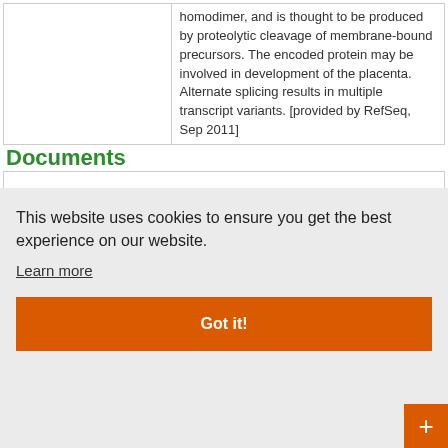|  | homodimer, and is thought to be produced by proteolytic cleavage of membrane-bound precursors. The encoded protein may be involved in development of the placenta. Alternate splicing results in multiple transcript variants. [provided by RefSeq, Sep 2011] |
Documents
[Figure (screenshot): Cookie consent banner overlay on a light gray background. Text reads: 'This website uses cookies to ensure you get the best experience on our website. Learn more' followed by an orange 'Got it!' button.]
Transfect... Live Chat